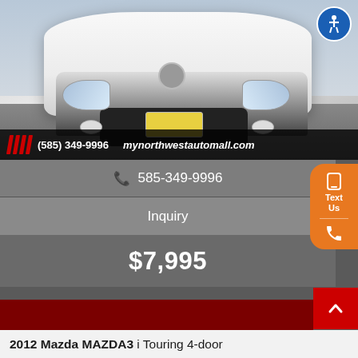[Figure (photo): Front view of a white Mazda car in a parking lot, with dealer banner showing phone number and website]
(585) 349-9996   mynorthwestautomall.com
📞 585-349-9996
Inquiry
$7,995
Text Us
2012 Mazda MAZDA3 i Touring 4-door